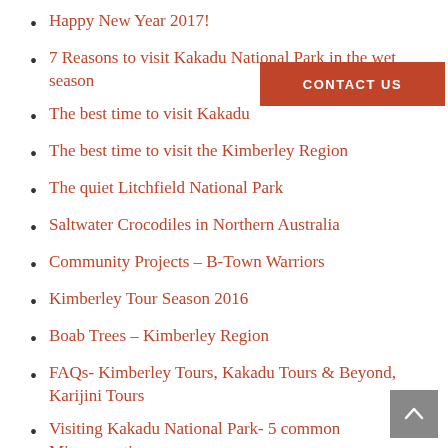Happy New Year 2017!
7 Reasons to visit Kakadu National Park in the wet season
The best time to visit Kakadu
The best time to visit the Kimberley Region
The quiet Litchfield National Park
Saltwater Crocodiles in Northern Australia
Community Projects – B-Town Warriors
Kimberley Tour Season 2016
Boab Trees – Kimberley Region
FAQs- Kimberley Tours, Kakadu Tours & Beyond, Karijini Tours
Visiting Kakadu National Park- 5 common Misconceptions
The Kimberley Seed Bank Project